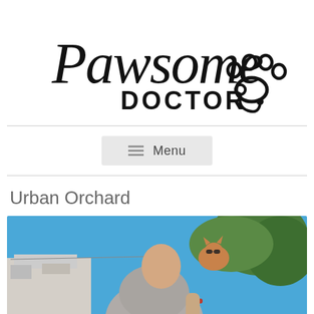[Figure (logo): Pawsome Doctor logo with cursive 'Pawsome' text and 'DOCTOR' in bold, with a paw print and stethoscope icon]
[Figure (screenshot): Menu navigation button with hamburger icon and 'Menu' text on gray background]
Urban Orchard
[Figure (photo): Outdoor photo of a man in a gray t-shirt with a cat wearing sunglasses sitting on his shoulder, blue sky and green trees in background]